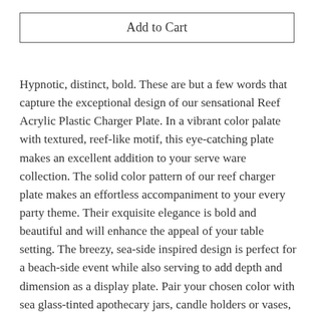Add to Cart
Hypnotic, distinct, bold. These are but a few words that capture the exceptional design of our sensational Reef Acrylic Plastic Charger Plate. In a vibrant color palate with textured, reef-like motif, this eye-catching plate makes an excellent addition to your serve ware collection. The solid color pattern of our reef charger plate makes an effortless accompaniment to your every party theme. Their exquisite elegance is bold and beautiful and will enhance the appeal of your table setting. The breezy, sea-side inspired design is perfect for a beach-side event while also serving to add depth and dimension as a display plate. Pair your chosen color with sea glass-tinted apothecary jars, candle holders or vases, then round out the look with a meaningful floral centerpiece. Perfect for upscale restaurants and catering events, this sophisticated charger plate lends a